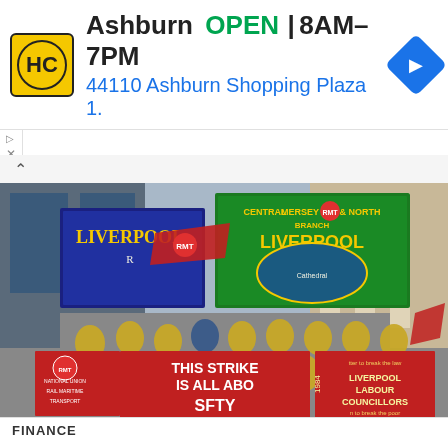[Figure (infographic): Advertisement banner: HC logo (yellow/black), business name 'Ashburn', status 'OPEN', hours '8AM-7PM', address '44110 Ashburn Shopping Plaza 1.', navigation icon (blue diamond with arrow)]
[Figure (photo): Outdoor photograph of a group of workers wearing high-visibility yellow and orange vests at what appears to be a strike/protest. They are holding union banners including 'RMT Central Mersey & North Branch Liverpool', 'Liverpool' banner, a red RMT flag, and signs reading 'THIS STRIKE IS ALL ABOUT SAFETY' and 'LIVERPOOL LABOUR COUNCILLORS 1984'. Many people are visible in the crowd, standing in front of a large stone building.]
FINANCE